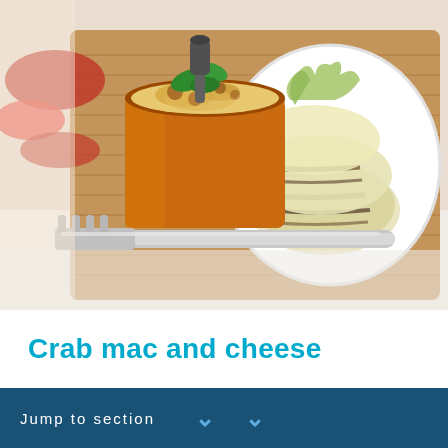[Figure (photo): A copper saucepan filled with baked mac and cheese topped with fresh basil leaves, served on a wooden cutting board alongside grilled fennel slices on a white plate. A silver fork rests in the foreground on a white surface. Red peppers visible in the upper left.]
Crab mac and cheese
Jump to section